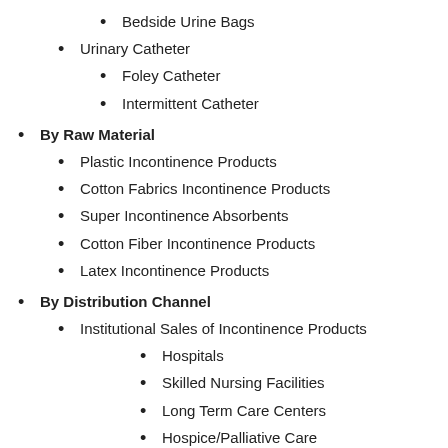Bedside Urine Bags
Urinary Catheter
Foley Catheter
Intermittent Catheter
By Raw Material
Plastic Incontinence Products
Cotton Fabrics Incontinence Products
Super Incontinence Absorbents
Cotton Fiber Incontinence Products
Latex Incontinence Products
By Distribution Channel
Institutional Sales of Incontinence Products
Hospitals
Skilled Nursing Facilities
Long Term Care Centers
Hospice/Palliative Care
Incontinence Product Sales via Modern Trade
Incontinence Product Sales via Departmental Stores
Incontinence Product Sales via Convenience